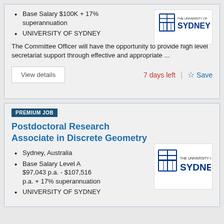Base Salary $100K + 17% superannuation
UNIVERSITY OF SYDNEY
[Figure (logo): University of Sydney crest logo with text THE UNIVERSITY OF SYDNEY]
The Committee Officer will have the opportunity to provide high level secretariat support through effective and appropriate ...
View details
7 days left
Save
PREMIUM JOB
Postdoctoral Research Associate in Discrete Geometry
Sydney, Australia
Base Salary Level A $97,043 p.a. - $107,516 p.a. + 17% superannuation
UNIVERSITY OF SYDNEY
[Figure (logo): University of Sydney crest logo with text THE UNIVERSITY OF SYDNEY]